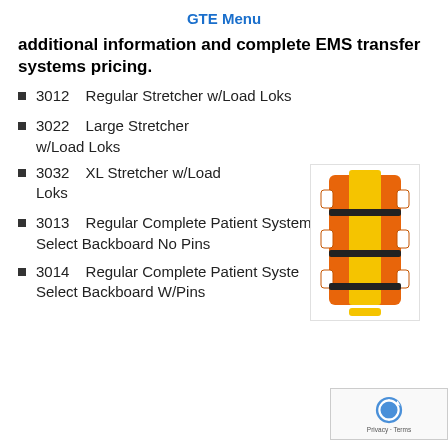GTE Menu
additional information and complete EMS transfer systems pricing.
3012    Regular Stretcher w/Load Loks
3022    Large Stretcher w/Load Loks
[Figure (photo): Orange and yellow EMS stretcher/backboard with load loks straps]
3032    XL Stretcher w/Load Loks
3013    Regular Complete Patient System, Select Backboard No Pins
3014    Regular Complete Patient Syste... Select Backboard W/Pins